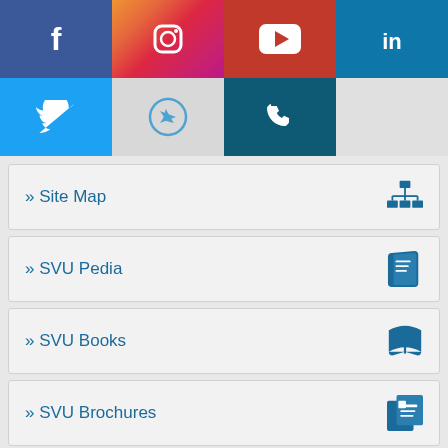[Figure (infographic): Social media icons grid: Facebook (blue), Instagram (gradient), YouTube (red), LinkedIn (blue) in top row; Twitter (light blue), Telegram (gray), Phone (dark teal), empty (gray) in bottom row]
» Site Map
» SVU Pedia
» SVU Books
» SVU Brochures
» Photo albums
» Video galleries